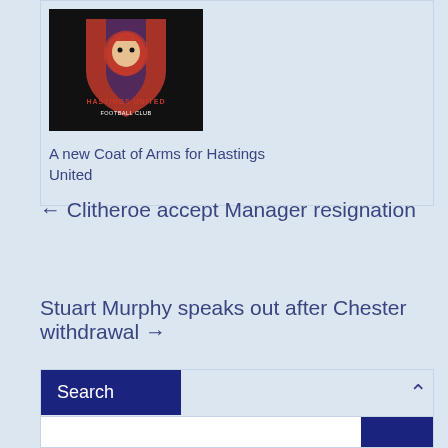[Figure (logo): Hastings United Football Club crest/logo on black background — red lion with crown, red and blue shield design, text 'HASTINGS UNITED FOOTBALL CLUB']
A new Coat of Arms for Hastings United
← Clitheroe accept Manager resignation
Stuart Murphy speaks out after Chester withdrawal →
Search